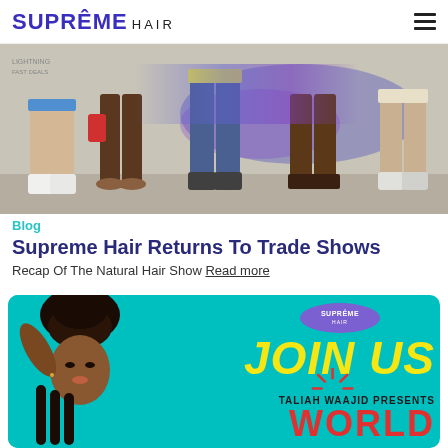SUPRÊME HAIR
[Figure (photo): Photo of people's legs and feet at a trade show event, with a purple/blue glowing display in background]
Blog
Supreme Hair Returns To Trade Shows
Recap Of The Natural Hair Show Read more
[Figure (photo): Promotional banner with teal background showing a woman with braids and text: SUPRÊME HAIR logo (oval), JOIN US, TALIAH WAAJID PRESENTS, WORLD]